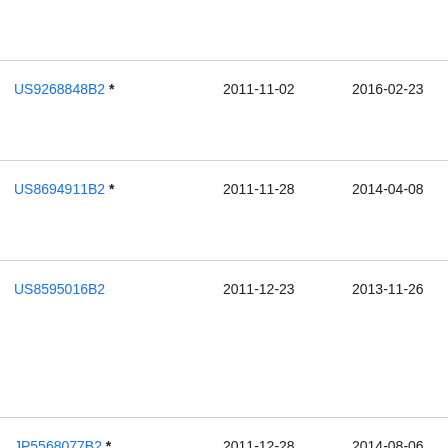| Patent | Filed | Published | Assignee |
| --- | --- | --- | --- |
| US9268848B2 * | 2011-11-02 | 2016-02-23 | Mic
Tec
Lic |
| US8694911B2 * | 2011-11-28 | 2014-04-08 | Inte
Bus
Cor |
| US8595016B2 | 2011-12-23 | 2013-11-26 | Ang |
| JP5568077B2 * | 2011-12-28 | 2014-08-06 | □□□□ |